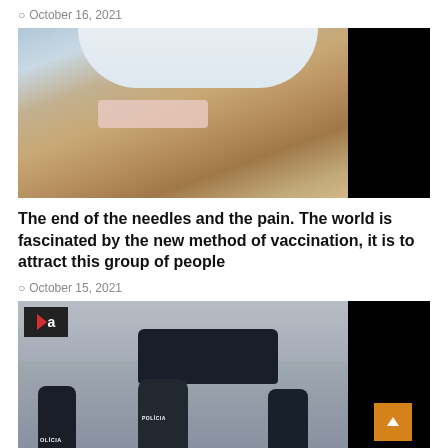October 16, 2021
[Figure (photo): Close-up of a person's upper arm with a bandage/plaster after vaccination, wearing a white sleeveless shirt, partially blacked out on right side]
The end of the needles and the pain. The world is fascinated by the new method of vaccination, it is to attract this group of people
October 15, 2021
[Figure (photo): Police officers standing outside a building/garage watching a dark car (VW), with a news station logo 'a' overlay in top left, partially blacked out on right side]